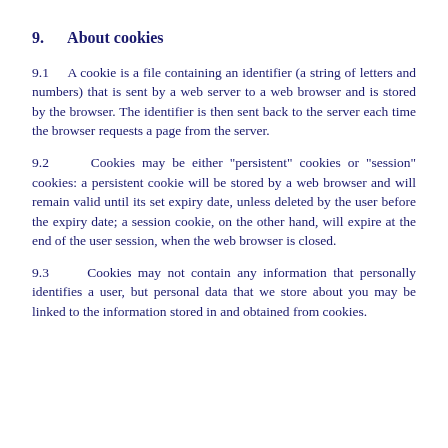9.    About cookies
9.1    A cookie is a file containing an identifier (a string of letters and numbers) that is sent by a web server to a web browser and is stored by the browser. The identifier is then sent back to the server each time the browser requests a page from the server.
9.2    Cookies may be either "persistent" cookies or "session" cookies: a persistent cookie will be stored by a web browser and will remain valid until its set expiry date, unless deleted by the user before the expiry date; a session cookie, on the other hand, will expire at the end of the user session, when the web browser is closed.
9.3    Cookies may not contain any information that personally identifies a user, but personal data that we store about you may be linked to the information stored in and obtained from cookies.